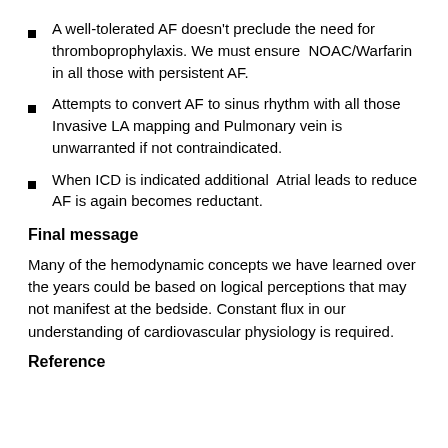A well-tolerated AF doesn't preclude the need for thromboprophylaxis. We must ensure NOAC/Warfarin in all those with persistent AF.
Attempts to convert AF to sinus rhythm with all those Invasive LA mapping and Pulmonary vein is unwarranted if not contraindicated.
When ICD is indicated additional Atrial leads to reduce AF is again becomes reductant.
Final message
Many of the hemodynamic concepts we have learned over the years could be based on logical perceptions that may not manifest at the bedside. Constant flux in our understanding of cardiovascular physiology is required.
Reference